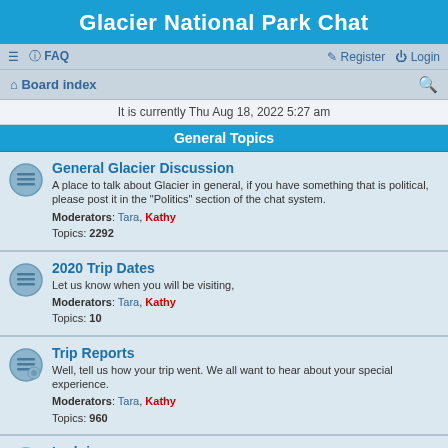Glacier National Park Chat
≡  FAQ    Register  Login
Board index
It is currently Thu Aug 18, 2022 5:27 am
General Topics
General Glacier Discussion
A place to talk about Glacier in general, if you have something that is political, please post it in the "Politics" section of the chat system.
Moderators: Tara, Kathy
Topics: 2292
2020 Trip Dates
Let us know when you will be visiting,
Moderators: Tara, Kathy
Topics: 10
Trip Reports
Well, tell us how your trip went. We all want to hear about your special experience.
Moderators: Tara, Kathy
Topics: 960
Lodging
General Lodging information.
Moderators: Tara, Kathy
Topics: 384